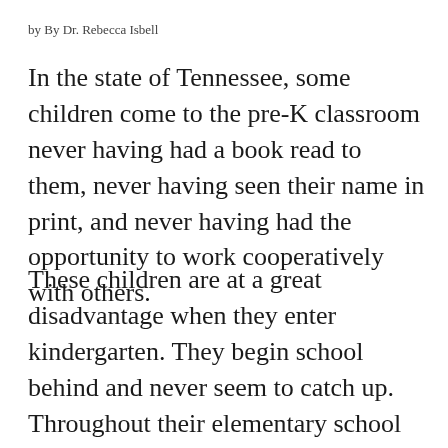by By Dr. Rebecca Isbell
In the state of Tennessee, some children come to the pre-K classroom never having had a book read to them, never having seen their name in print, and never having had the opportunity to work cooperatively with others.
These children are at a great disadvantage when they enter kindergarten. They begin school behind and never seem to catch up. Throughout their elementary school years, they fall farther and farther behind in reading, writing and social skills. They are more likely